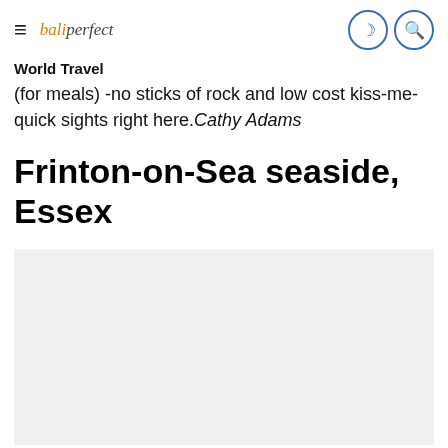baliferfect [logo] [hamburger menu] [moon icon] [search icon]
World Travel
(for meals) -no sticks of rock and low cost kiss-me-quick sights right here.Cathy Adams
Frinton-on-Sea seaside, Essex
[Figure (photo): Photo of Frinton-on-Sea seaside, Essex — large white area (image not fully loaded)]
(Getty Photos)